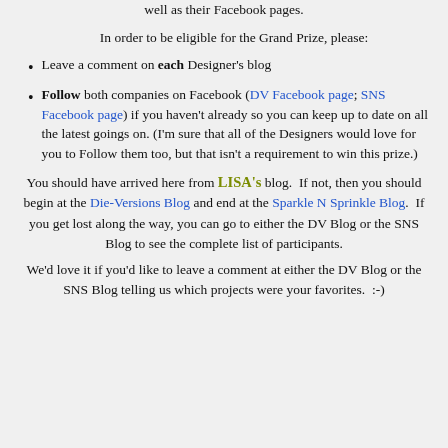well as their Facebook pages.
In order to be eligible for the Grand Prize, please:
Leave a comment on each Designer's blog
Follow both companies on Facebook (DV Facebook page; SNS Facebook page) if you haven't already so you can keep up to date on all the latest goings on. (I'm sure that all of the Designers would love for you to Follow them too, but that isn't a requirement to win this prize.)
You should have arrived here from LISA's blog. If not, then you should begin at the Die-Versions Blog and end at the Sparkle N Sprinkle Blog. If you get lost along the way, you can go to either the DV Blog or the SNS Blog to see the complete list of participants.
We'd love it if you'd like to leave a comment at either the DV Blog or the SNS Blog telling us which projects were your favorites. :-)